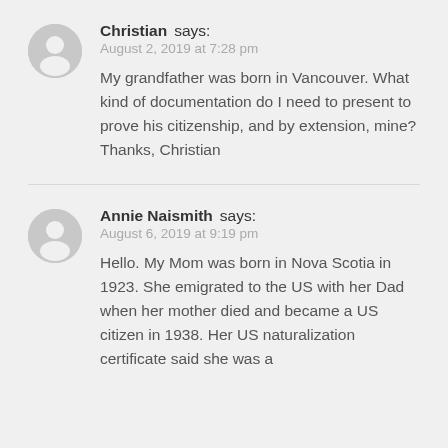Christian says:
August 2, 2019 at 7:28 pm

My grandfather was born in Vancouver. What kind of documentation do I need to present to prove his citizenship, and by extension, mine? Thanks, Christian
Annie Naismith says:
August 6, 2019 at 9:19 pm

Hello. My Mom was born in Nova Scotia in 1923. She emigrated to the US with her Dad when her mother died and became a US citizen in 1938. Her US naturalization certificate said she was a